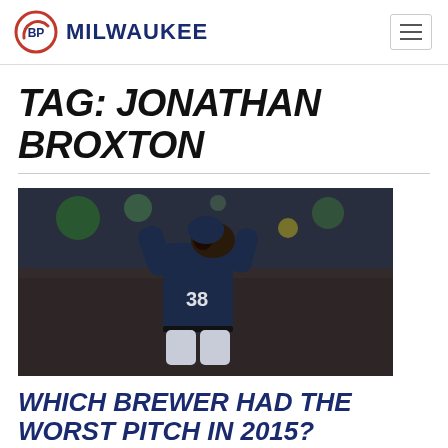BP MILWAUKEE
TAG: JONATHAN BROXTON
[Figure (photo): Baseball pitcher wearing Milwaukee Brewers jersey number 38, holding glove up to face, photographed from behind in a stadium setting with blurred crowd background]
WHICH BREWER HAD THE WORST PITCH IN 2015?
BY RYAN ROMANO FEBRUARY 4, 2016